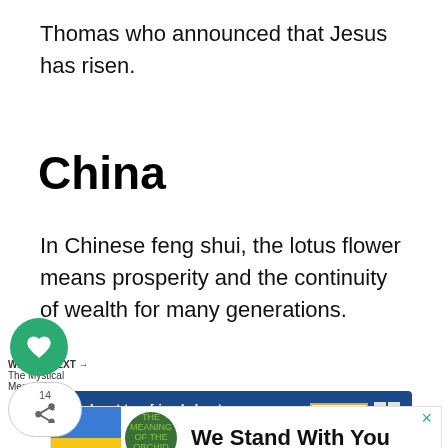Thomas who announced that Jesus has risen.
China
In Chinese feng shui, the lotus flower means prosperity and the continuity of wealth for many generations.
[Figure (infographic): Ukraine flag colors advertisement banner reading 'We Stand With You' with a close X button]
[Figure (infographic): Bottom advertisement: 'Reach out to a friend about their mental health. Learn more' with 'SEIZE THE AWKWARD' badge]
WHAT'S NEXT → The Mystical Meaning an...